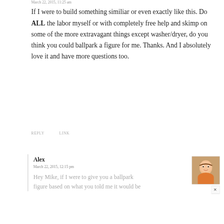March 22, 2015, 11:25 am
If I were to build something similiar or even exactly like this. Do ALL the labor myself or with completely free help and skimp on some of the more extravagant things except washer/dryer, do you think you could ballpark a figure for me. Thanks. And I absolutely love it and have more questions too.
REPLY    LINK
Alex
March 22, 2015, 12:15 pm
Hey Mike, if I were to give you a ballpark figure based on what you told me it would be